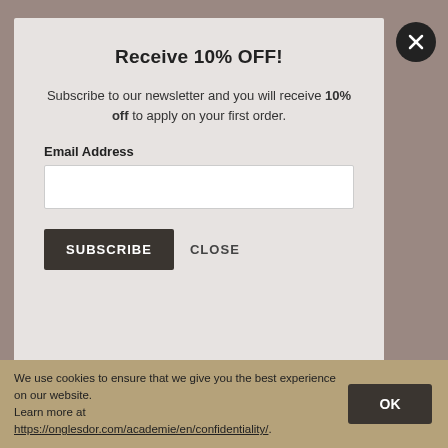[Figure (screenshot): Background image of a nail salon/beauty product page, partially visible behind modal overlay]
Receive 10% OFF!
Subscribe to our newsletter and you will receive 10% off to apply on your first order.
Email Address
SUBSCRIBE   CLOSE
We use cookies to ensure that we give you the best experience on our website.
Learn more at https://onglesdor.com/academie/en/confidentiality/.